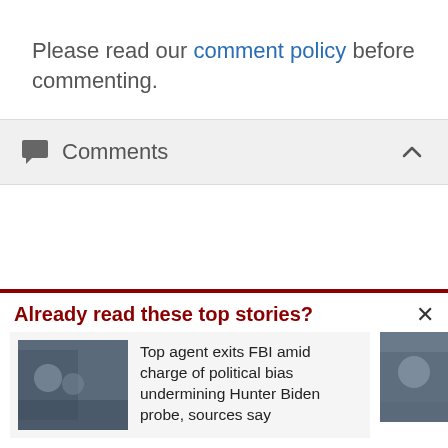Please read our comment policy before commenting.
Comments
Already read these top stories?
Top agent exits FBI amid charge of political bias undermining Hunter Biden probe, sources say